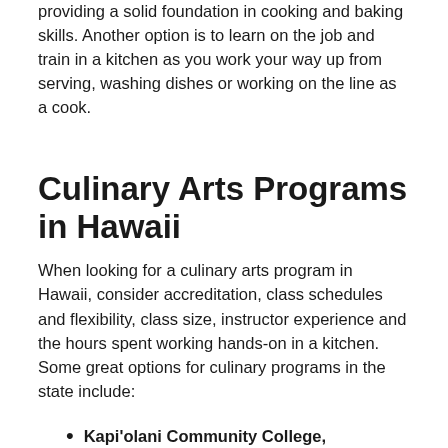providing a solid foundation in cooking and baking skills. Another option is to learn on the job and train in a kitchen as you work your way up from serving, washing dishes or working on the line as a cook.
Culinary Arts Programs in Hawaii
When looking for a culinary arts program in Hawaii, consider accreditation, class schedules and flexibility, class size, instructor experience and the hours spent working hands-on in a kitchen. Some great options for culinary programs in the state include:
Kapi'olani Community College,